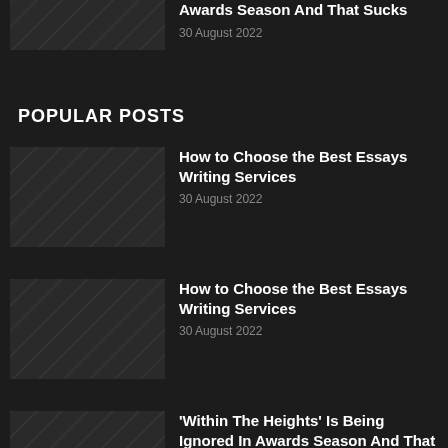Awards Season And That Sucks
30 August 2022
POPULAR POSTS
How to Choose the Best Essays Writing Services
30 August 2022
How to Choose the Best Essays Writing Services
30 August 2022
'Within The Heights' Is Being Ignored In Awards Season And That Sucks
30 August 2022